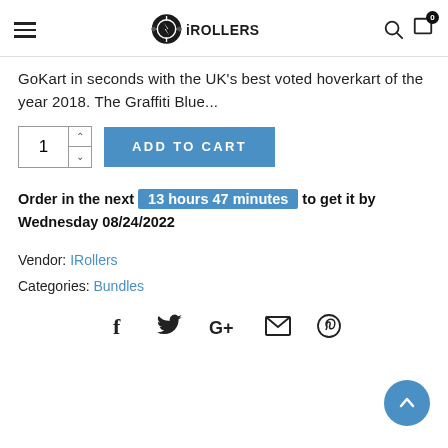iRollers
GoKart in seconds with the UK's best voted hoverkart of the year 2018. The Graffiti Blue...
Order in the next 13 hours 47 minutes to get it by Wednesday 08/24/2022
Vendor: IRollers
Categories: Bundles